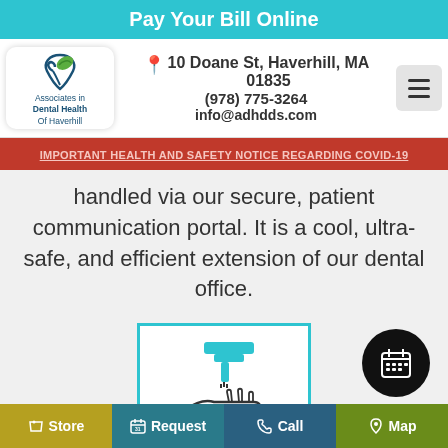Pay Your Bill Online
[Figure (logo): Associates in Dental Health of Haverhill logo with tooth and leaf icon]
10 Doane St, Haverhill, MA 01835
(978) 775-3264
info@adhdds.com
IMPORTANT HEALTH AND SAFETY NOTICE REGARDING COVID-19
handled via our secure, patient communication portal. It is a cool, ultra-safe, and efficient extension of our dental office.
[Figure (illustration): Hand sanitizer dispenser icon with teal and dark colors in a teal-bordered box]
Store  Request  Call  Map